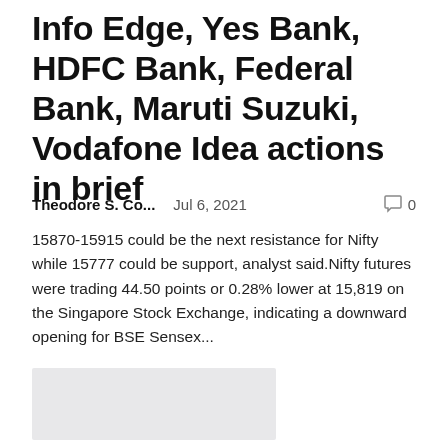Info Edge, Yes Bank, HDFC Bank, Federal Bank, Maruti Suzuki, Vodafone Idea actions in brief
Theodore S. Co...   Jul 6, 2021   🗨 0
15870-15915 could be the next resistance for Nifty while 15777 could be support, analyst said.Nifty futures were trading 44.50 points or 0.28% lower at 15,819 on the Singapore Stock Exchange, indicating a downward opening for BSE Sensex...
[Figure (other): Light gray rectangular placeholder image]